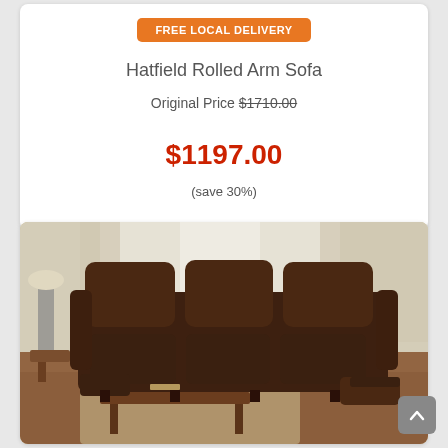FREE LOCAL DELIVERY
Hatfield Rolled Arm Sofa
Original Price $1710.00
$1197.00
(save 30%)
[Figure (photo): Brown fabric reclining sofa in a living room setting with wooden coffee table and light curtains in background]